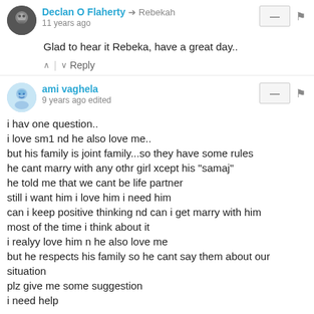Declan O Flaherty → Rebekah
11 years ago
Glad to hear it Rebeka, have a great day..
ami vaghela
9 years ago edited
i hav one question..
i love sm1 nd he also love me..
but his family is joint family...so they have some rules
he cant marry with any othr girl xcept his "samaj"
he told me that we cant be life partner
still i want him i love him i need him
can i keep positive thinking nd can i get marry with him
most of the time i think about it
i realyy love him n he also love me
but he respects his family so he cant say them about our situation
plz give me some suggestion
i need help
5 ↑ | ↓ 1  Reply